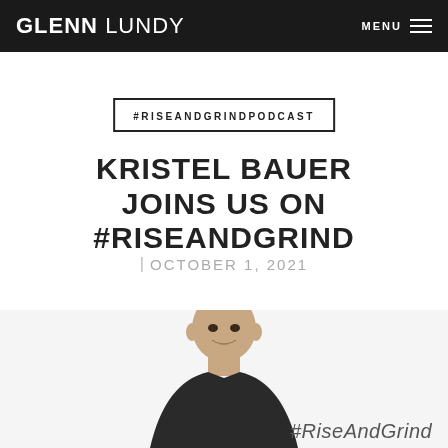GLENN LUNDY | MENU
#RISEANDGRINDPODCAST
KRISTEL BAUER JOINS US ON #RISEANDGRIND
| OCTOBER 1, 2021
[Figure (photo): Photo of a man from shoulders up, with #RiseAndGrind text visible at the bottom right of the image]